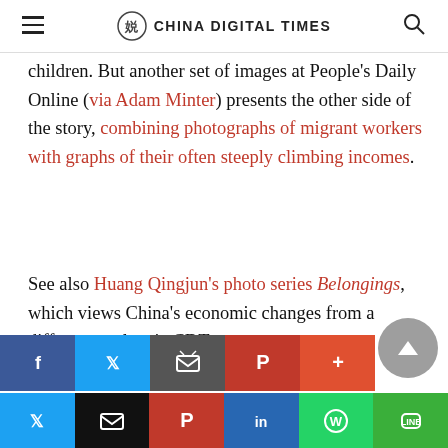CHINA DIGITAL TIMES
children. But another set of images at People's Daily Online (via Adam Minter) presents the other side of the story, combining photographs of migrant workers with graphs of their often steeply climbing incomes.
See also Huang Qingjun's photo series Belongings, which views China's economic changes from a different angle, via CDT.
[Figure (other): Social sharing buttons row: Facebook, Twitter, Mail, Pinterest, More]
[Figure (other): Bottom sharing bar: Twitter, Email, Pinterest, LinkedIn, WhatsApp, LINE]